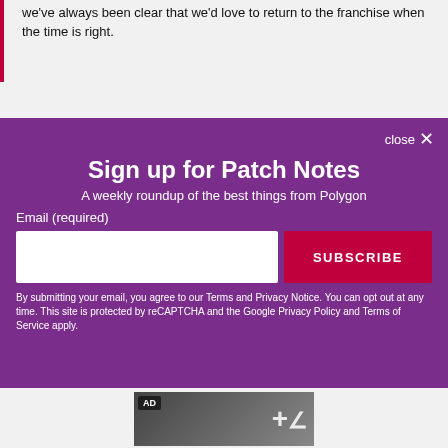We've always been clear that we'd love to return to the franchise when the time is right.
Sign up for Patch Notes
A weekly roundup of the best things from Polygon
Email (required)
SUBSCRIBE
By submitting your email, you agree to our Terms and Privacy Notice. You can opt out at any time. This site is protected by reCAPTCHA and the Google Privacy Policy and Terms of Service apply.
[Figure (photo): AD badge with a movie/TV scene showing a blonde woman in dark clothing against a dark background, with a partial '+' symbol visible on the right side.]